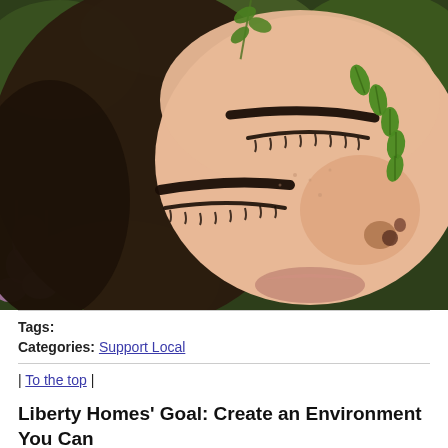[Figure (photo): Close-up photo of a woman lying among green leaves and purple flowers, eyes closed, with small green leaves arranged on her forehead/brow area. Natural beauty/wellness aesthetic.]
Tags:
Categories: Support Local
| To the top |
Liberty Homes' Goal: Create an Environment You Can